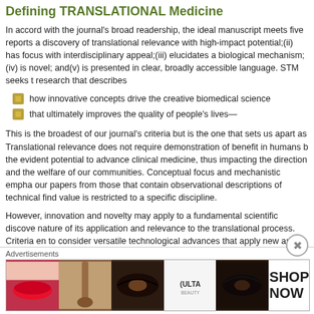Defining TRANSLATIONAL Medicine
In accord with the journal's broad readership, the ideal manuscript meets five reports a discovery of translational relevance with high-impact potential;(ii) has focus with interdisciplinary appeal;(iii) elucidates a biological mechanism;(iv) is novel; and(v) is presented in clear, broadly accessible language. STM seeks t research that describes
how innovative concepts drive the creative biomedical science
that ultimately improves the quality of people's lives—
This is the broadest of our journal's criteria but is the one that sets us apart as Translational relevance does not require demonstration of benefit in humans b the evident potential to advance clinical medicine, thus impacting the direction and the welfare of our communities. Conceptual focus and mechanistic empha our papers from those that contain observational descriptions of technical find value is restricted to a specific discipline.
However, innovation and novelty may apply to a fundamental scientific discove nature of its application and relevance to the translational process. Criteria en to consider versatile technological advances that apply new and creative think
Advertisements
[Figure (photo): ULTA Beauty advertisement banner showing cosmetic imagery including lips with lipstick, makeup brush, eye makeup, ULTA Beauty logo, eye close-up, and SHOP NOW call-to-action text]